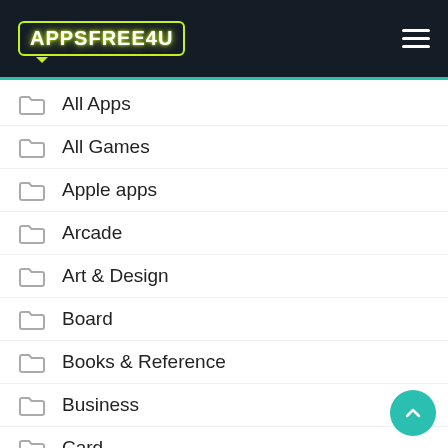APPSFREE4U
All Apps
All Games
Apple apps
Arcade
Art & Design
Board
Books & Reference
Business
Card
Casual